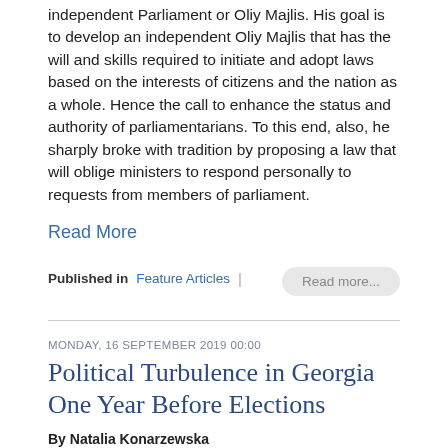independent Parliament or Oliy Majlis. His goal is to develop an independent Oliy Majlis that has the will and skills required to initiate and adopt laws based on the interests of citizens and the nation as a whole. Hence the call to enhance the status and authority of parliamentarians. To this end, also, he sharply broke with tradition by proposing a law that will oblige ministers to respond personally to requests from members of parliament.
Read More
Published in  Feature Articles  |
Read more...
MONDAY, 16 SEPTEMBER 2019 00:00
Political Turbulence in Georgia One Year Before Elections
By Natalia Konarzewska
September 16, 2019, the CACI Analyst